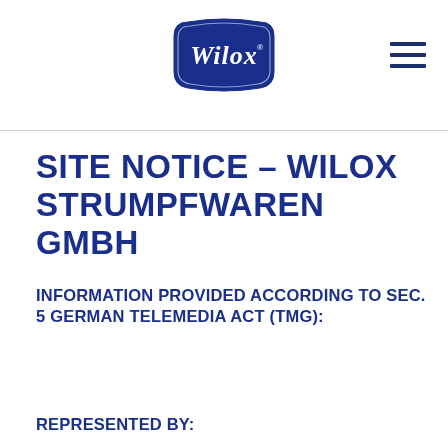[Figure (logo): Wilox brand logo — white script text on dark navy/blue badge shape with decorative border]
SITE NOTICE – WILOX STRUMPFWAREN GMBH
INFORMATION PROVIDED ACCORDING TO SEC. 5 GERMAN TELEMEDIA ACT (TMG):
REPRESENTED BY: